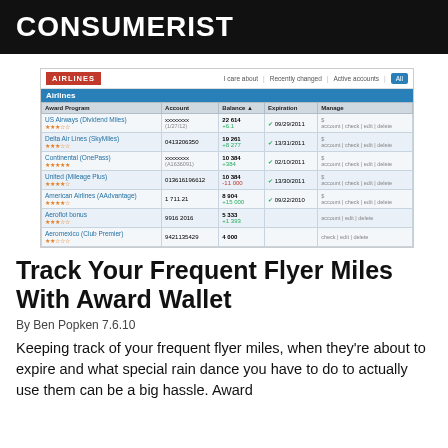CONSUMERIST
[Figure (screenshot): Screenshot of AwardWallet Airlines tracking interface showing frequent flyer accounts (US Airways, Delta Air Lines, Continental, United, American Airlines, AeroflotBonus, Aeromexico) with balances, expiration dates, and manage options.]
Track Your Frequent Flyer Miles With Award Wallet
By Ben Popken 7.6.10
Keeping track of your frequent flyer miles, when they're about to expire and what special rain dance you have to do to actually use them can be a big hassle. Award